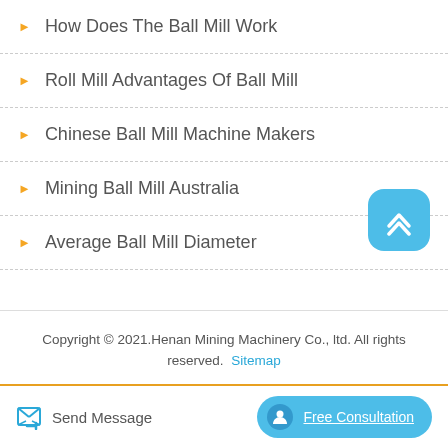How Does The Ball Mill Work
Roll Mill Advantages Of Ball Mill
Chinese Ball Mill Machine Makers
Mining Ball Mill Australia
Average Ball Mill Diameter
Copyright © 2021.Henan Mining Machinery Co., ltd. All rights reserved. Sitemap
Send Message
Free Consultation